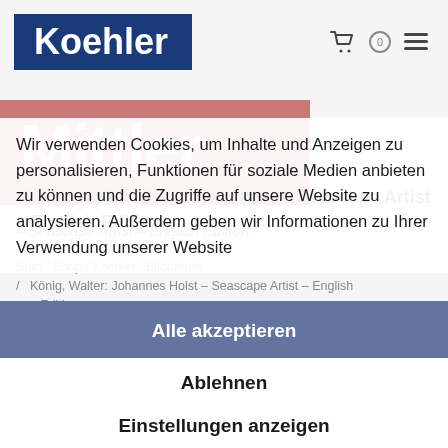[Figure (logo): Koehler logo - white text on dark blue background]
[Figure (logo): Mittler logo - white bold text on salmon/pink background]
Wir verwenden Cookies, um Inhalte und Anzeigen zu personalisieren, Funktionen für soziale Medien anbieten zu können und die Zugriffe auf unsere Website zu analysieren. Außerdem geben wir Informationen zu Ihrer Verwendung unserer Website
König, Walter: Johannes Holst – Seascape Artist – English Edition.
Start / Shop / Koehler / Bildbände / König, Walter: Johannes Holst – Seascape Artist – English Edition.
Alle akzeptieren
Ablehnen
Einstellungen anzeigen
[Figure (photo): Book cover image showing Walter König JOHANNES HOLST with seascape painting in background]